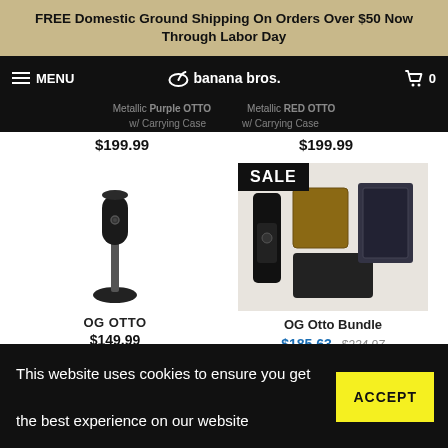FREE Domestic Ground Shipping On Orders Over $50 Now Through Labor Day
≡ MENU  banana bros.  🛒 0
Metallic Purple OTTO  Metallic RED OTTO  w/ Carrying Case  w/ Carrying Case
$199.99  $199.99
[Figure (photo): OG OTTO product - black handheld grinder device on stand]
OG OTTO
$149.99
[Figure (photo): OG Otto Bundle - SALE badge, showing grinder with accessories including case and grinder kit]
OG Otto Bundle
$185.63  $234.97
[Figure (photo): SALE badge bottom left card - partially visible product]
[Figure (photo): SALE badge bottom right card - partially visible black device]
This website uses cookies to ensure you get the best experience on our website
ACCEPT